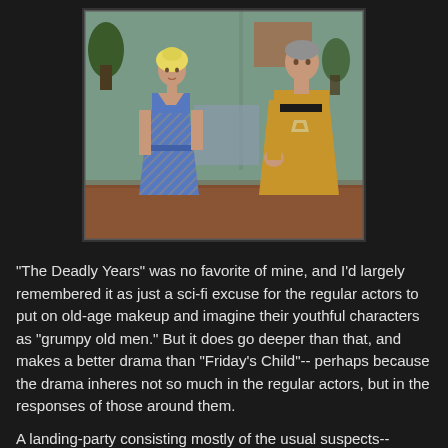[Figure (photo): A scene from Star Trek: The Original Series showing a blonde woman in a blue floral dress standing across from an older man in a gold Starfleet uniform, gesturing toward her in an indoor set.]
"The Deadly Years" was no favorite of mine, and I'd largely remembered it as just a sci-fi excuse for the regular actors to put on old-age makeup and imagine their youthful characters as "grumpy old men." But it does go deeper than that, and makes a better drama than "Friday's Child"-- perhaps because the drama inheres not so much in the regular actors, but in the responses of those around them.
A landing-party consisting mostly of the usual suspects--